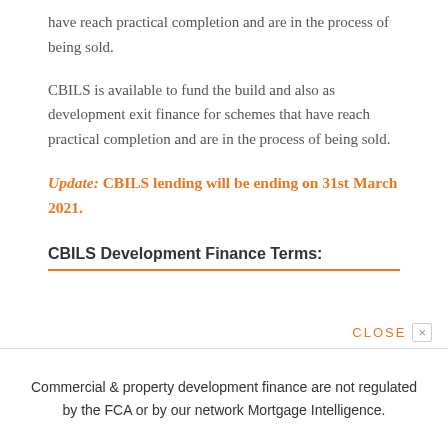have reach practical completion and are in the process of being sold.
CBILS is available to fund the build and also as development exit finance for schemes that have reach practical completion and are in the process of being sold.
Update: CBILS lending will be ending on 31st March 2021.
CBILS Development Finance Terms:
CLOSE ×
Commercial & property development finance are not regulated by the FCA or by our network Mortgage Intelligence.